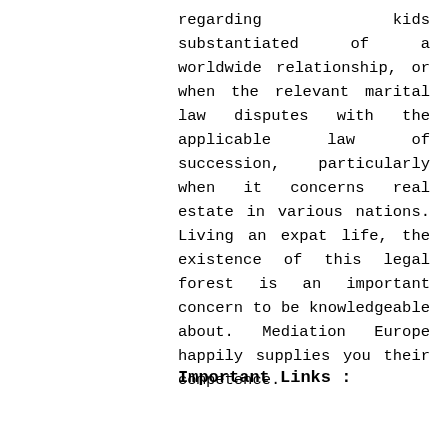regarding kids substantiated of a worldwide relationship, or when the relevant marital law disputes with the applicable law of succession, particularly when it concerns real estate in various nations. Living an expat life, the existence of this legal forest is an important concern to be knowledgeable about. Mediation Europe happily supplies you their competence.
Important Links :